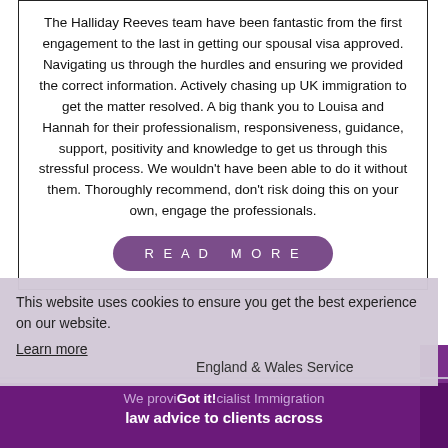The Halliday Reeves team have been fantastic from the first engagement to the last in getting our spousal visa approved. Navigating us through the hurdles and ensuring we provided the correct information. Actively chasing up UK immigration to get the matter resolved. A big thank you to Louisa and Hannah for their professionalism, responsiveness, guidance, support, positivity and knowledge to get us through this stressful process. We wouldn't have been able to do it without them. Thoroughly recommend, don't risk doing this on your own, engage the professionals.
READ MORE
This website uses cookies to ensure you get the best experience on our website.
Learn more
England & Wales Service
Got it!
We provide specialist Immigration law advice to clients across